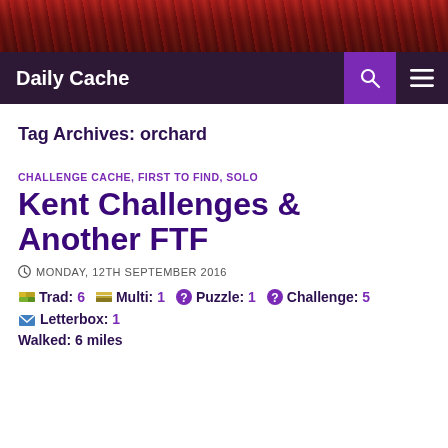[Figure (photo): Red sky/clouds header image banner]
Daily Cache
Tag Archives: orchard
CHALLENGE CACHE, FIRST TO FIND, SOLO
Kent Challenges & Another FTF
MONDAY, 12TH SEPTEMBER 2016
Trad: 6   Multi: 1   Puzzle: 1   Challenge: 5
Letterbox: 1
Walked: 6 miles